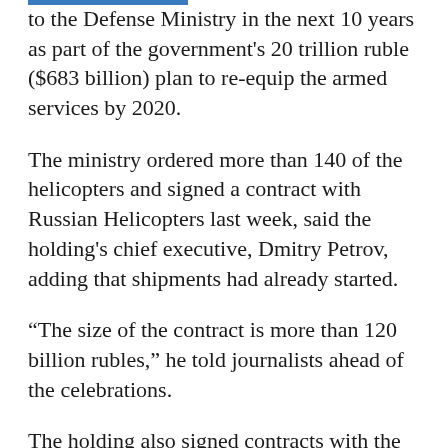to the Defense Ministry in the next 10 years as part of the government's 20 trillion ruble ($683 billion) plan to re-equip the armed services by 2020.
The ministry ordered more than 140 of the helicopters and signed a contract with Russian Helicopters last week, said the holding's chief executive, Dmitry Petrov, adding that shipments had already started.
“The size of the contract is more than 120 billion rubles,” he told journalists ahead of the celebrations.
The holding also signed contracts with the Defense Ministry during the MAKS air show last month to deliver more than 450 helicopters by 2020.